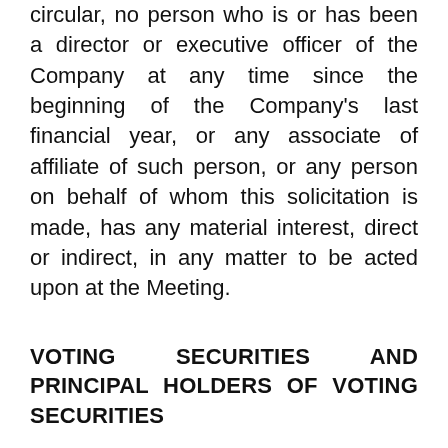circular, no person who is or has been a director or executive officer of the Company at any time since the beginning of the Company's last financial year, or any associate of affiliate of such person, or any person on behalf of whom this solicitation is made, has any material interest, direct or indirect, in any matter to be acted upon at the Meeting.
VOTING SECURITIES AND PRINCIPAL HOLDERS OF VOTING SECURITIES
The Company has an authorized capital consisting of an unlimited number of common shares without par value.  Thursday, March 23,